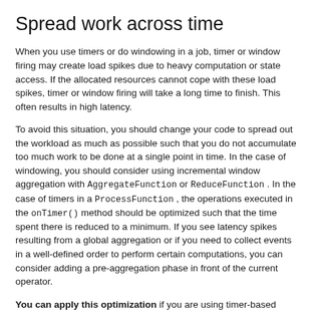Spread work across time
When you use timers or do windowing in a job, timer or window firing may create load spikes due to heavy computation or state access. If the allocated resources cannot cope with these load spikes, timer or window firing will take a long time to finish. This often results in high latency.
To avoid this situation, you should change your code to spread out the workload as much as possible such that you do not accumulate too much work to be done at a single point in time. In the case of windowing, you should consider using incremental window aggregation with AggregateFunction or ReduceFunction . In the case of timers in a ProcessFunction , the operations executed in the onTimer() method should be optimized such that the time spent there is reduced to a minimum. If you see latency spikes resulting from a global aggregation or if you need to collect events in a well-defined order to perform certain computations, you can consider adding a pre-aggregation phase in front of the current operator.
You can apply this optimization if you are using timer-based processing (e.g., timers, windowing) and an efficient aggregation can be applied whenever an event arrives instead of waiting for